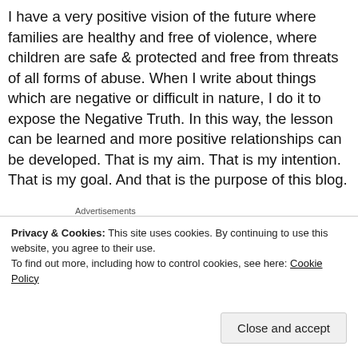I have a very positive vision of the future where families are healthy and free of violence, where children are safe & protected and free from threats of all forms of abuse. When I write about things which are negative or difficult in nature, I do it to expose the Negative Truth. In this way, the lesson can be learned and more positive relationships can be developed. That is my aim. That is my intention. That is my goal. And that is the purpose of this blog.
Advertisements
[Figure (logo): Longreads advertisement banner with red background, circular L logo, and LONGREADS text with decorative lines]
Privacy & Cookies: This site uses cookies. By continuing to use this website, you agree to their use.
To find out more, including how to control cookies, see here: Cookie Policy
Close and accept